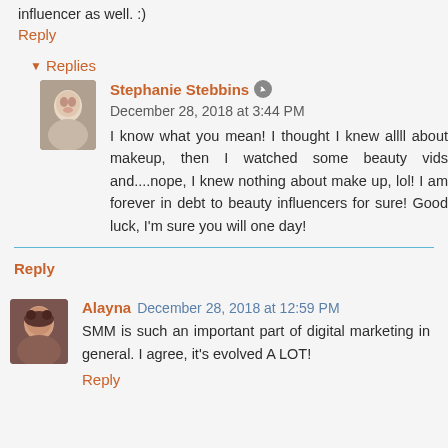influencer as well. :)
Reply
Replies
Stephanie Stebbins  December 28, 2018 at 3:44 PM
I know what you mean! I thought I knew allll about makeup, then I watched some beauty vids and....nope, I knew nothing about make up, lol! I am forever in debt to beauty influencers for sure! Good luck, I'm sure you will one day!
Reply
Alayna  December 28, 2018 at 12:59 PM
SMM is such an important part of digital marketing in general. I agree, it's evolved A LOT!
Reply